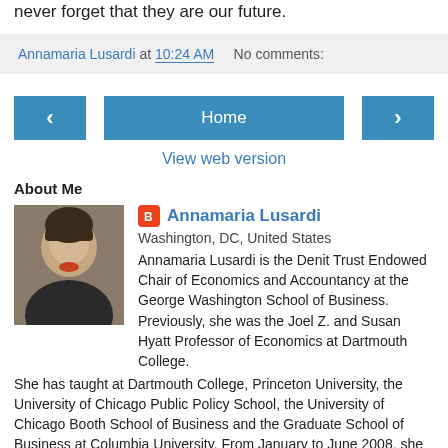never forget that they are our future.
Annamaria Lusardi at 10:24 AM   No comments:
[Figure (infographic): Navigation bar with left arrow button, Home button, and right arrow button in teal/blue color]
View web version
About Me
Annamaria Lusardi
Washington, DC, United States
Annamaria Lusardi is the Denit Trust Endowed Chair of Economics and Accountancy at the George Washington School of Business. Previously, she was the Joel Z. and Susan Hyatt Professor of Economics at Dartmouth College. She has taught at Dartmouth College, Princeton University, the University of Chicago Public Policy School, the University of Chicago Booth School of Business and the Graduate School of Business at Columbia University. From January to June 2008, she was a visiting scholar at Harvard Business School. She has advised the U.S.